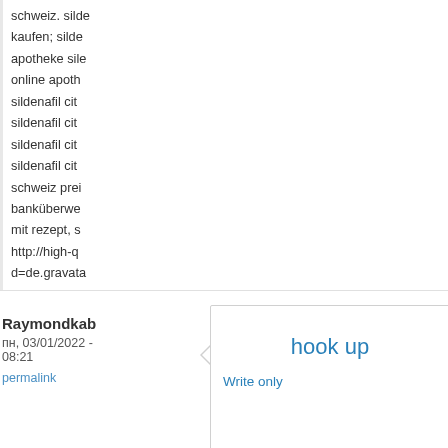schweiz. silde kaufen; silde apotheke sile online apoth sildenafil cit sildenafil cit sildenafil cit sildenafil cit schweiz prei banküberwе mit rezept, s http://high-q d=de.gravata sildenafil 10
Комментиро
Raymondkab
пн, 03/01/2022 - 08:21
permalink
hook up
Write only